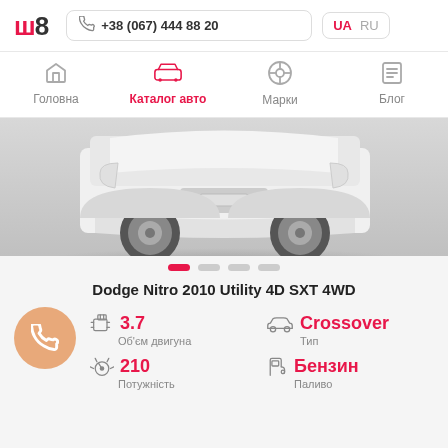w8 | +38 (067) 444 88 20 | UA RU
Головна | Каталог авто | Марки | Блог
[Figure (photo): Front/bottom view of a white Dodge Nitro SUV on grey background]
Dodge Nitro 2010 Utility 4D SXT 4WD
3.7
Об'єм двигуна
Crossover
Тип
210
Потужність
Бензин
Паливо